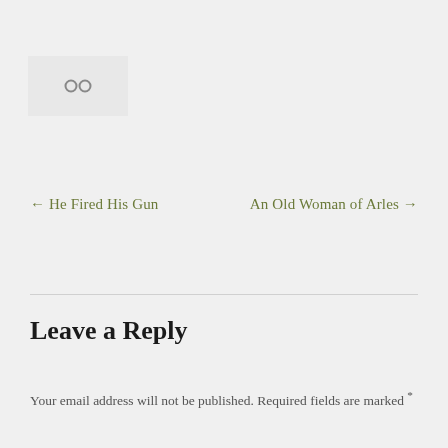[Figure (other): Small grey box with a chain/link icon (two interlocked circles) in grey color]
← He Fired His Gun
An Old Woman of Arles →
Leave a Reply
Your email address will not be published. Required fields are marked *